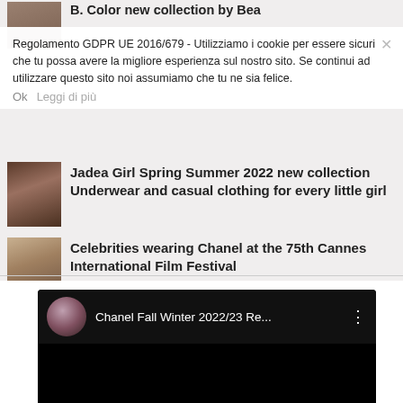B. Color new collection by Bea (partial)
Regolamento GDPR UE 2016/679 - Utilizziamo i cookie per essere sicuri che tu possa avere la migliore esperienza sul nostro sito. Se continui ad utilizzare questo sito noi assumiamo che tu ne sia felice.
Ok  Leggi di più
[Figure (photo): Thumbnail of fashion photo - dark toned woman underwear]
Jadea Girl Spring Summer 2022 new collection Underwear and casual clothing for every little girl
[Figure (photo): Thumbnail of blonde woman in black dress outdoors]
Celebrities wearing Chanel at the 75th Cannes International Film Festival
[Figure (screenshot): YouTube embedded video player showing Chanel Fall Winter 2022/23 Re... with channel avatar and three-dot menu]
Chanel Fall Winter 2022/23 Re...